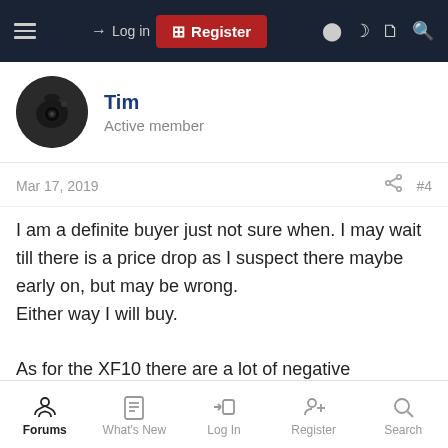Log in | Register
Tim
Active member
Mar 17, 2019   #4
I am a definite buyer just not sure when. I may wait till there is a price drop as I suspect there maybe early on, but may be wrong.
Either way I will buy.

As for the XF10 there are a lot of negative comments about operation speed of the camera but more of a worry is bad focus comments.
The IQ is also at times mentioned as being soft but from the
Forums | What's New | Log In | Register | Search